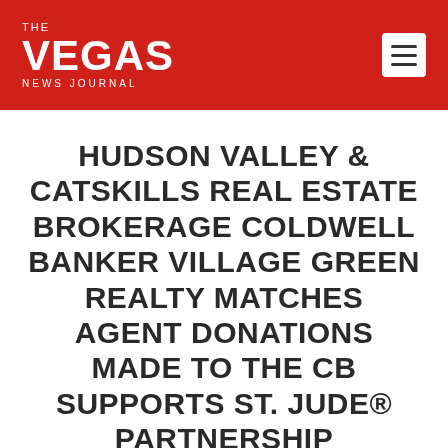THE VEGAS NEWS JOURNAL
HUDSON VALLEY & CATSKILLS REAL ESTATE BROKERAGE COLDWELL BANKER VILLAGE GREEN REALTY MATCHES AGENT DONATIONS MADE TO THE CB SUPPORTS ST. JUDE® PARTNERSHIP
Feb 4, 2022 | Finance